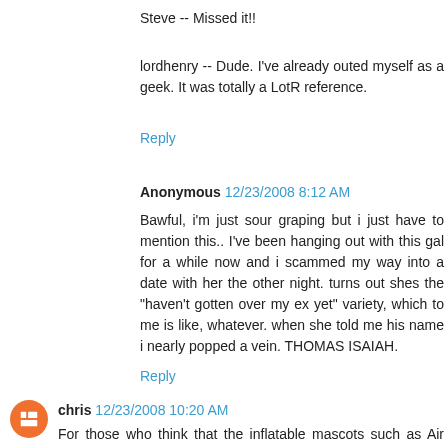Steve -- Missed it!!
lordhenry -- Dude. I've already outed myself as a geek. It was totally a LotR reference.
Reply
Anonymous  12/23/2008 8:12 AM
Bawful, i'm just sour graping but i just have to mention this.. I've been hanging out with this gal for a while now and i scammed my way into a date with her the other night. turns out shes the "haven't gotten over my ex yet" variety, which to me is like, whatever. when she told me his name i nearly popped a vein. THOMAS ISAIAH.
Reply
chris  12/23/2008 10:20 AM
For those who think that the inflatable mascots such as Air Clutch aren't enough to satisfy your air-filled serving of